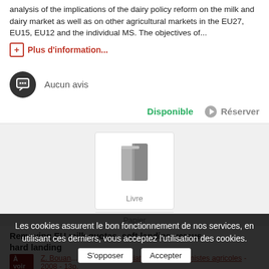analysis of the implications of the dairy policy reform on the milk and dairy market as well as on other agricultural markets in the EU27, EU15, EU12 and the individual MS. The objectives of...
Plus d'information...
Aucun avis
Disponible
Réserver
[Figure (illustration): Book icon representing a physical book/Livre Papier]
Livre
Papier
Removing EU milk quotas, soft landing versus hard landing
Z. Bouandel... - Asse... - Association des économistes agricoles - 2008 - 13p.
Les cookies assurent le bon fonctionnement de nos services, en utilisant ces derniers, vous acceptez l'utilisation des cookies.
S'opposer
Accepter